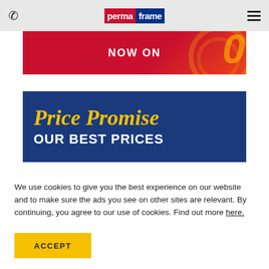permaframe — navigation bar with phone icon and hamburger menu
[Figure (infographic): Partially visible red promotional banner with 'NOW ON' text and circular design elements with a large stylized zero]
[Figure (infographic): Blue Price Promise banner with yellow italic 'Price Promise' script text and bold white 'OUR BEST PRICES' text]
We use cookies to give you the best experience on our website and to make sure the ads you see on other sites are relevant. By continuing, you agree to our use of cookies. Find out more here.
ACCEPT